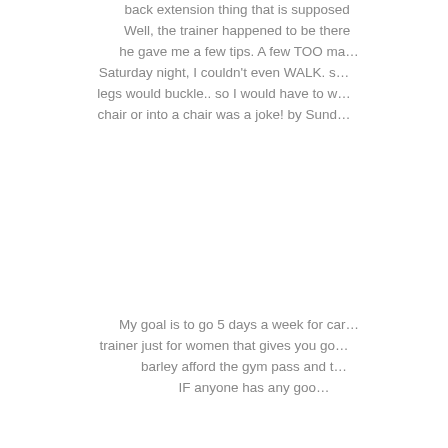back extension thing that is supposed to Well, the trainer happened to be there he gave me a few tips. A few TOO ma Saturday night, I couldn't even WALK. s legs would buckle.. so I would have to w chair or into a chair was a joke! by Sund
My goal is to go 5 days a week for car trainer just for women that gives you go barley afford the gym pass and t IF anyone has any goo
So this is HUGE for me. I HATE exercis my family, ask my friends.. ask anyone. to get skinny, I would rather be fat! Bu skinny. It's about being HEALTHY. I me In order to keep up with my kids as tee take care of my body right now. I know I process, it's an even bigger motivator). life and since high school was always a has muscles and she can run like no on year or so ago.. she hit the same spo GREAT! I am so proud of her! My old bo